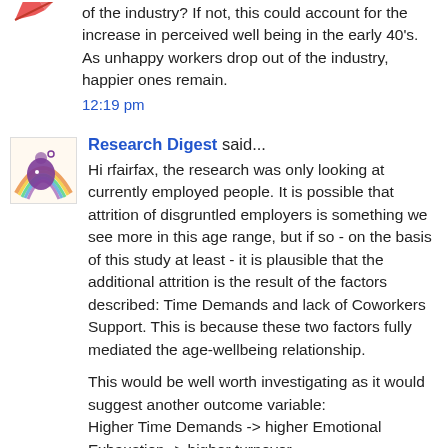of the industry? If not, this could account for the increase in perceived well being in the early 40's. As unhappy workers drop out of the industry, happier ones remain.
12:19 pm
Research Digest said...
Hi rfairfax, the research was only looking at currently employed people. It is possible that attrition of disgruntled employers is something we see more in this age range, but if so - on the basis of this study at least - it is plausible that the additional attrition is the result of the factors described: Time Demands and lack of Coworkers Support. This is because these two factors fully mediated the age-wellbeing relationship.
This would be well worth investigating as it would suggest another outcome variable:
Higher Time Demands -> higher Emotional Exhaustion -> higher turnover
12:31 pm